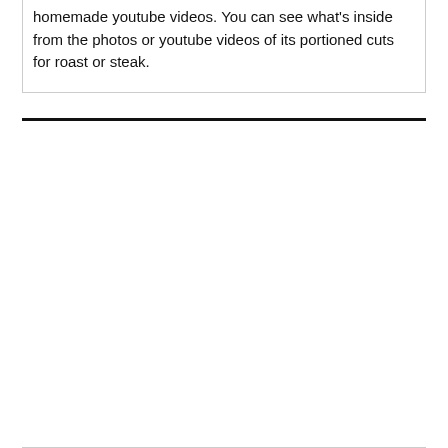homemade youtube videos. You can see what's inside from the photos or youtube videos of its portioned cuts for roast or steak.